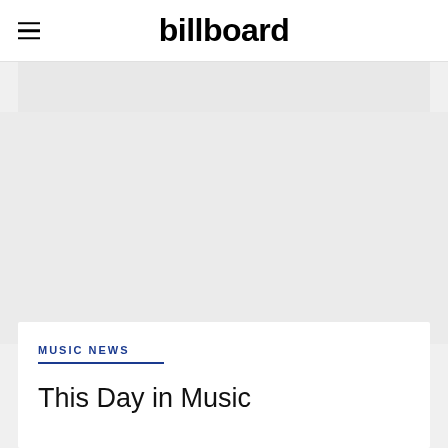billboard
[Figure (other): Gray advertisement placeholder area below header]
MUSIC NEWS
This Day in Music